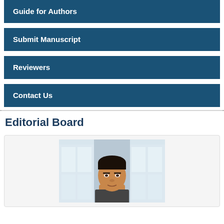Guide for Authors
Submit Manuscript
Reviewers
Contact Us
Editorial Board
[Figure (photo): Headshot photo of a man with dark hair, light background with windows visible]